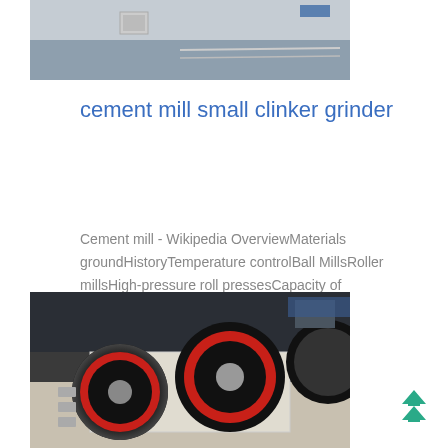[Figure (photo): Top portion of a photo showing an industrial facility interior with equipment and railing visible]
cement mill small clinker grinder
Cement mill - Wikipedia OverviewMaterials groundHistoryTemperature controlBall MillsRoller millsHigh-pressure roll pressesCapacity of cement mills Portland clinker is the main constituent of most
[Figure (photo): Photo of industrial grinding mill machinery with large black and red flywheels/wheels mounted on a white/beige frame structure]